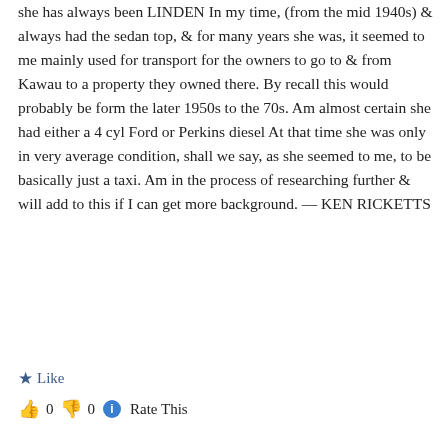she has always been LINDEN In my time, (from the mid 1940s) & always had the sedan top, & for many years she was, it seemed to me mainly used for transport for the owners to go to & from Kawau to a property they owned there. By recall this would probably be form the later 1950s to the 70s. Am almost certain she had either a 4 cyl Ford or Perkins diesel At that time she was only in very average condition, shall we say, as she seemed to me, to be basically just a taxi. Am in the process of researching further & will add to this if I can get more background. — KEN RICKETTS
★ Like
👍 0 👎 0 ℹ Rate This